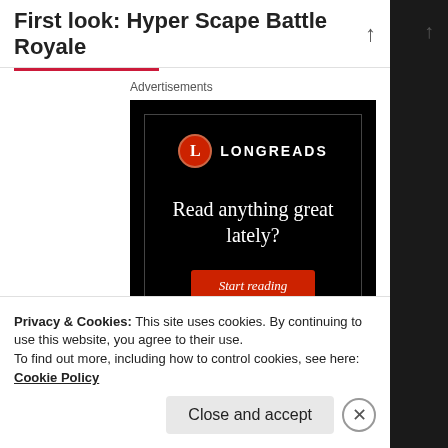First look: Hyper Scape Battle Royale
Advertisements
[Figure (illustration): Longreads advertisement on black background with logo, headline 'Read anything great lately?' and red 'Start reading' button]
Privacy & Cookies: This site uses cookies. By continuing to use this website, you agree to their use.
To find out more, including how to control cookies, see here: Cookie Policy
Close and accept